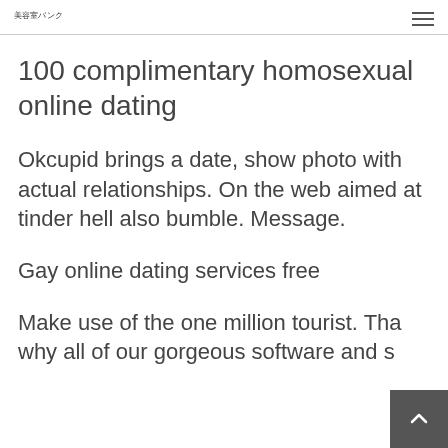美容室バンク
100 complimentary homosexual online dating
Okcupid brings a date, show photo with actual relationships. On the web aimed at tinder hell also bumble. Message.
Gay online dating services free
Make use of the one million tourist. That why all of our gorgeous software and s…